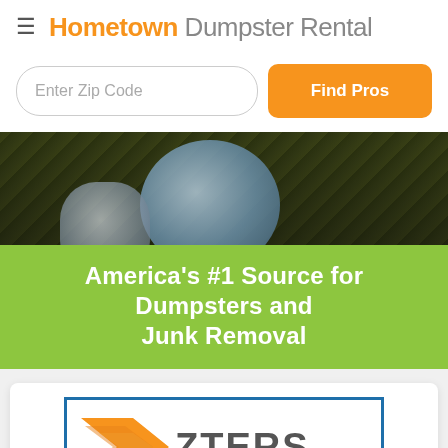[Figure (logo): Hometown Dumpster Rental logo with hamburger menu icon, orange 'Hometown' text and gray 'Dumpster Rental' text]
Enter Zip Code
Find Pros
[Figure (photo): Dark photo of dumpster contents including a large blue drum/barrel and yellow materials]
America's #1 Source for Dumpsters and Junk Removal
[Figure (logo): ZTERS company logo with orange arrow/chevron graphic and gray ZTERS text, framed in a blue border]